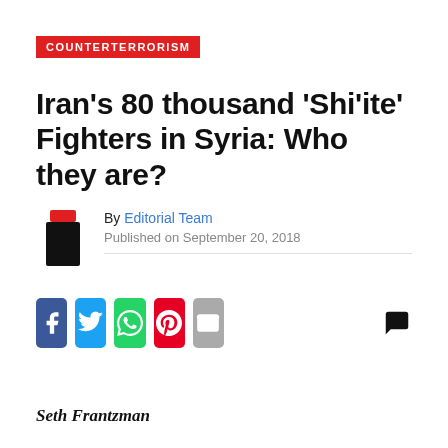COUNTERTERRORISM
Iran's 80 thousand ‘Shi’ite’ Fighters in Syria: Who they are?
By Editorial Team
Published on September 20, 2018
[Figure (infographic): Social share buttons: Facebook, Twitter, WhatsApp, Pinterest, Email; comment bubble icon on right]
Seth Frantzman